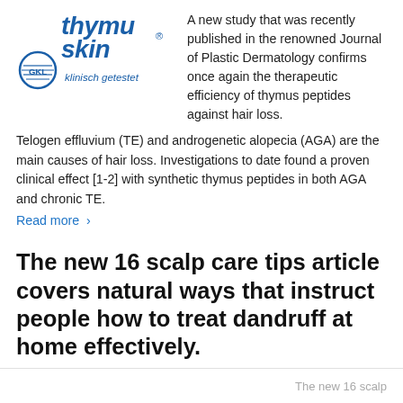[Figure (logo): Thymuskin logo with GKL badge and 'klinisch getestet' text in blue]
A new study that was recently published in the renowned Journal of Plastic Dermatology confirms once again the therapeutic efficiency of thymus peptides against hair loss.
Telogen effluvium (TE) and androgenetic alopecia (AGA) are the main causes of hair loss. Investigations to date found a proven clinical effect [1-2] with synthetic thymus peptides in both AGA and chronic TE.
Read more >
The new 16 scalp care tips article covers natural ways that instruct people how to treat dandruff at home effectively.
December 1, 2013 /
The new 16 scalp